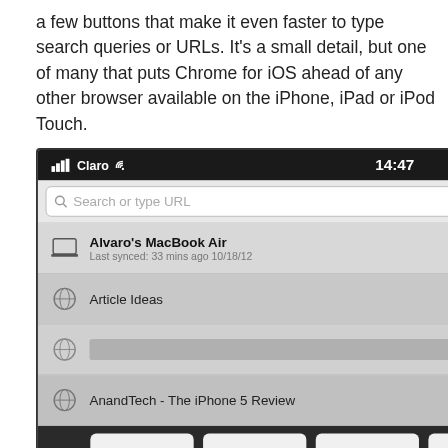a few buttons that make it even faster to type search queries or URLs. It's a small detail, but one of many that puts Chrome for iOS ahead of any other browser available on the iPhone, iPad or iPod Touch.
[Figure (screenshot): iPhone screenshot showing Chrome for iOS browser with address bar open, suggestion list with Alvaro's MacBook Air synced tabs, Article Ideas, a gray bar placeholder, and AnandTech - The iPhone 5 Review suggestion, above a keyboard with special URL keys (:, ., -, /, .com) and QWERTY top row, with partial ASDF row reflected below.]